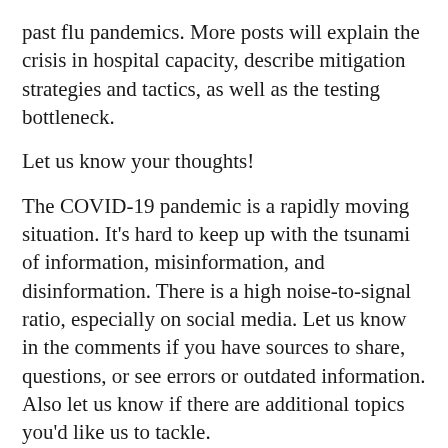past flu pandemics. More posts will explain the crisis in hospital capacity, describe mitigation strategies and tactics, as well as the testing bottleneck.
Let us know your thoughts!
The COVID-19 pandemic is a rapidly moving situation. It’s hard to keep up with the tsunami of information, misinformation, and disinformation. There is a high noise-to-signal ratio, especially on social media. Let us know in the comments if you have sources to share, questions, or see errors or outdated information. Also let us know if there are additional topics you’d like us to tackle.
Stay well!
This post had a lot of data visualizations.  If you want to see non-COVID-19 data visualizations that can